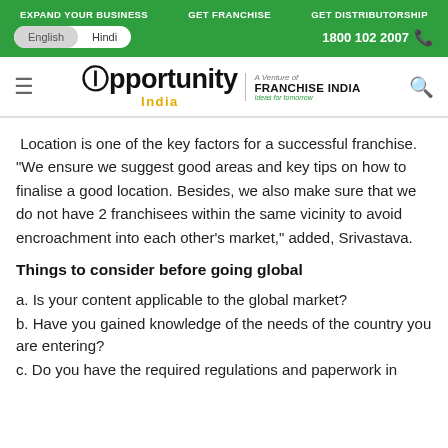EXPAND YOUR BUSINESS   GET FRANCHISE   GET DISTRIBUTORSHIP
English  Hindi   1800 102 2007
[Figure (logo): Opportunity India logo — 'Opportunity India' with colorful O, tagline 'A Venture of FRANCHISE INDIA']
Location is one of the key factors for a successful franchise. "We ensure we suggest good areas and key tips on how to finalise a good location. Besides, we also make sure that we do not have 2 franchisees within the same vicinity to avoid encroachment into each other's market," added, Srivastava.
Things to consider before going global
a. Is your content applicable to the global market?
b. Have you gained knowledge of the needs of the country you are entering?
c. Do you have the required regulations and paperwork in